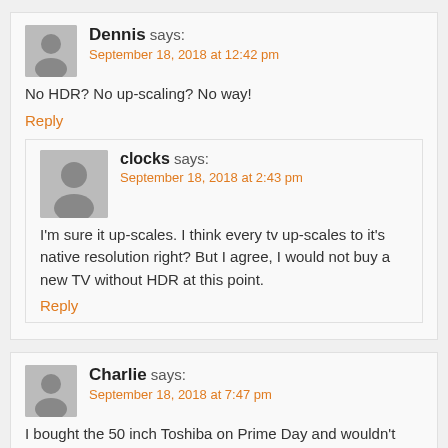Dennis says:
September 18, 2018 at 12:42 pm
No HDR? No up-scaling? No way!
Reply
clocks says:
September 18, 2018 at 2:43 pm
I'm sure it up-scales. I think every tv up-scales to it's native resolution right? But I agree, I would not buy a new TV without HDR at this point.
Reply
Charlie says:
September 18, 2018 at 7:47 pm
I bought the 50 inch Toshiba on Prime Day and wouldn't know HDR if it hit me in the butt, but I do like the picture. It's a nice...